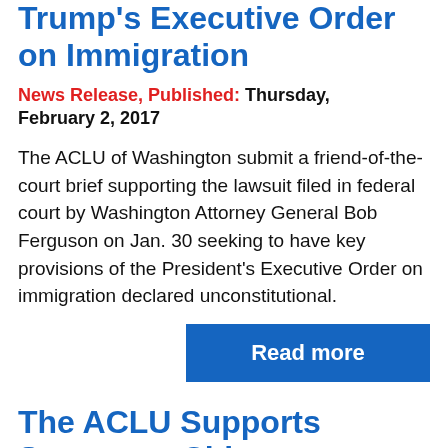Trump's Executive Order on Immigration
News Release, Published: Thursday, February 2, 2017
The ACLU of Washington submit a friend-of-the-court brief supporting the lawsuit filed in federal court by Washington Attorney General Bob Ferguson on Jan. 30 seeking to have key provisions of the President's Executive Order on immigration declared unconstitutional.
Read more
The ACLU Supports Sanctuary Cities
Published: Friday, January 27, 2017